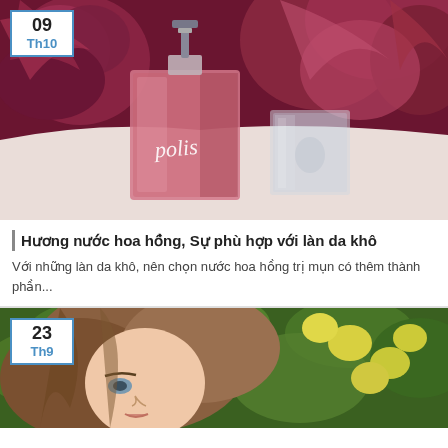[Figure (photo): Perfume bottle labeled 'polis' with pink/rose color against a background of dark pink roses]
09
Th10
Hương nước hoa hồng, Sự phù hợp với làn da khô
Với những làn da khô, nên chọn nước hoa hồng trị mụn có thêm thành phần...
[Figure (photo): Young woman with brown hair among yellow lemons on green tree]
23
Th9